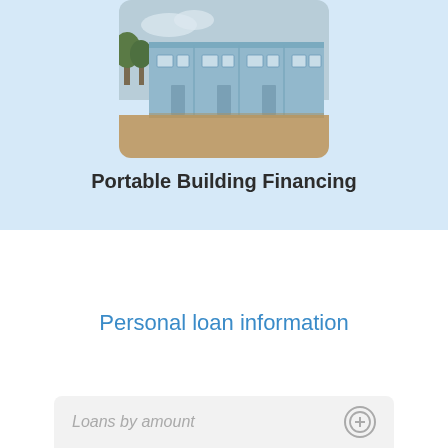[Figure (photo): Photograph of portable/modular buildings (light blue/grey prefab units) lined up on a construction site with trees and sandy ground visible.]
Portable Building Financing
Personal loan information
Loans by amount